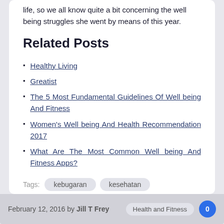life, so we all know quite a bit concerning the well being struggles she went by means of this year.
Related Posts
Healthy Living
Greatist
The 5 Most Fundamental Guidelines Of Well being And Fitness
Women's Well being And Health Recommendation 2017
What Are The Most Common Well being And Fitness Apps?
Tags: kebugaran kesehatan
February 12, 2016 by Jill T Frey  Health and Fitness  0